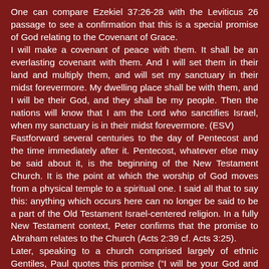One can compare Ezekiel 37:26-28 with the Leviticus 26 passage to see a confirmation that this is a special promise of God relating to the Covenant of Grace. I will make a covenant of peace with them. It shall be an everlasting covenant with them. And I will set them in their land and multiply them, and will set my sanctuary in their midst forevermore. My dwelling place shall be with them, and I will be their God, and they shall be my people. Then the nations will know that I am the Lord who sanctifies Israel, when my sanctuary is in their midst forevermore. (ESV) Fastforward several centuries to the day of Pentecost and the time immediately after it. Pentecost, whatever else may be said about it, is the beginning of the New Testament Church. It is the point at which the worship of God moves from a physical temple to a spiritual one. I said all that to say this: anything which occurs here can no longer be said to be a part of the Old Testament Israel-centered religion. In a fully New Testament context, Peter confirms that the promise to Abraham relates to the Church (Acts 2:39 cf. Acts 3:25). Later, speaking to a church comprised largely of ethnic Gentiles, Paul quotes this promise (“I will be your God and you will be My people) in reference to the Church. Indeed